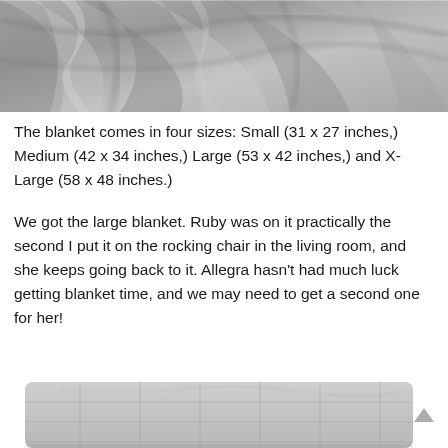[Figure (photo): Close-up photo of soft gray fabric/blanket with folds and texture]
The blanket comes in four sizes: Small (31 x 27 inches,) Medium (42 x 34 inches,) Large (53 x 42 inches,) and X-Large (58 x 48 inches.)
We got the large blanket. Ruby was on it practically the second I put it on the rocking chair in the living room, and she keeps going back to it. Allegra hasn't had much luck getting blanket time, and we may need to get a second one for her!
[Figure (photo): Partial view of a gray quilted blanket/mat at the bottom of the page]